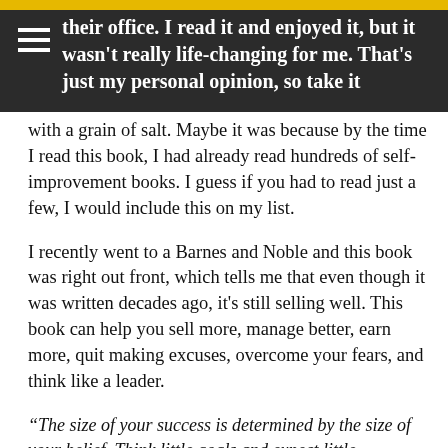their office. I read it and enjoyed it, but it wasn't really life-changing for me. That's just my personal opinion, so take it
with a grain of salt. Maybe it was because by the time I read this book, I had already read hundreds of self-improvement books. I guess if you had to read just a few, I would include this on my list.
I recently went to a Barnes and Noble and this book was right out front, which tells me that even though it was written decades ago, it's still selling well. This book can help you sell more, manage better, earn more, quit making excuses, overcome your fears, and think like a leader.
“The size of your success is determined by the size of your belief. Think little goals and expect little achievements. Think big goals and win big success. Remember this, too! Big ideas and big plans are often easier – certainly no more difficult – than small ideas and small plans.” – David Schwartz